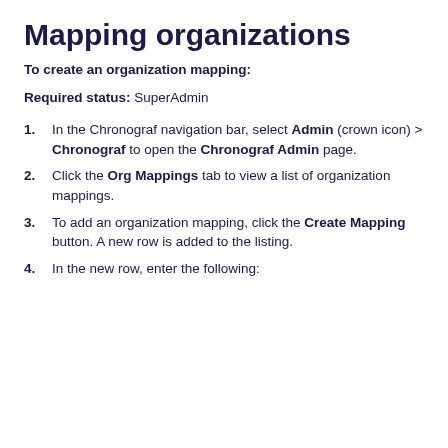Mapping organizations
To create an organization mapping:
Required status: SuperAdmin
1. In the Chronograf navigation bar, select Admin (crown icon) > Chronograf to open the Chronograf Admin page.
2. Click the Org Mappings tab to view a list of organization mappings.
3. To add an organization mapping, click the Create Mapping button. A new row is added to the listing.
4. In the new row, enter the following: